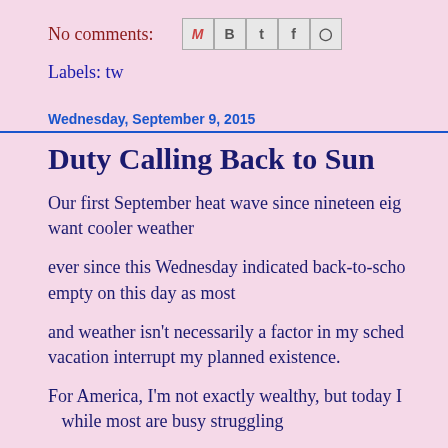No comments:
[Figure (other): Social share icons: Gmail (M), Blogger (B), Twitter (t), Facebook (f), Pinterest (circle-P)]
Labels: tw
Wednesday, September 9, 2015
Duty Calling Back to Sun
Our first September heat wave since nineteen eig want cooler weather
ever since this Wednesday indicated back-to-scho empty on this day as most
and weather isn't necessarily a factor in my sched vacation interrupt my planned existence.
For America, I'm not exactly wealthy, but today I while most are busy struggling